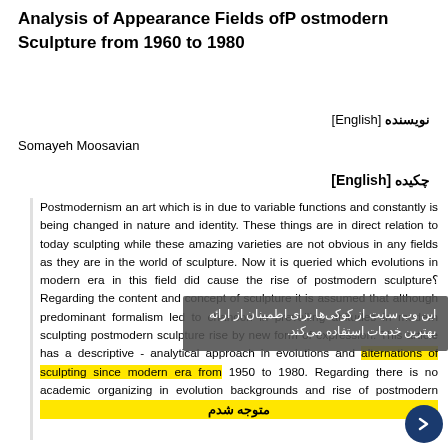Analysis of Appearance Fields ofP ostmodern Sculpture from 1960 to 1980
نویسنده [English]
Somayeh Moosavian
چکیده [English]
Postmodernism an art which is in due to variable functions and constantly is being changed in nature and identity. These things are in direct relation to today sculpting while these amazing varieties are not obvious in any fields as they are in the world of sculpture. Now it is queried which evolutions in modern era in this field did cause the rise of postmodern sculpture? Regarding the content and concept of sculpture it is assumed that although predominant formalism led to chanoon in prevailing attitudes in modern sculpting postmodern sculpture rise by new form of expression. This article has a descriptive - analytical approach in evolutions and alternations of sculpting since modern era from 1950 to 1980. Regarding there is no academic organizing in evolution backgrounds and rise of postmodern sculpture by their effects on sculpting from 1980 up to now the necessity of